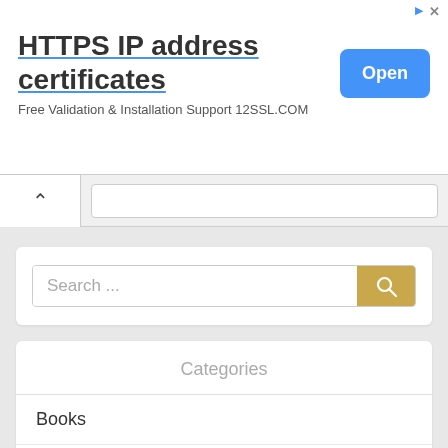[Figure (screenshot): Advertisement banner for HTTPS IP address certificates from 12SSL.COM with an 'Open' button]
HTTPS IP address certificates
Free Validation & Installation Support 12SSL.COM
Search ...
Categories
Books
Man Booker Prize
Pulitzer Prize
Interviews